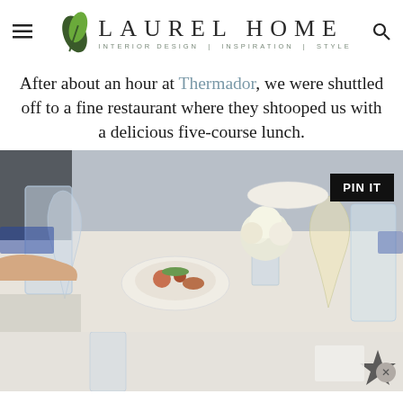LAUREL HOME — INTERIOR DESIGN | INSPIRATION | STYLE
After about an hour at Thermador, we were shuttled off to a fine restaurant where they shtooped us with a delicious five-course lunch.
[Figure (photo): Photo of a fine dining restaurant table setting with wine glasses, water glasses, floral centerpiece, and a plate of food. A 'PIN IT' button overlay appears in the upper right.]
[Figure (photo): Partial view of the same or similar restaurant table setting, lighter colored, partially obscured. An X close button appears at the bottom right.]